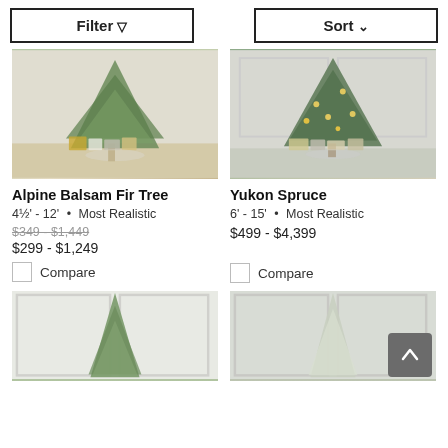[Figure (screenshot): Filter button with funnel icon]
[Figure (screenshot): Sort button with chevron icon]
[Figure (photo): Alpine Balsam Fir Tree product photo showing decorated Christmas tree with gifts]
Alpine Balsam Fir Tree
4½' - 12'  •  Most Realistic
$349 - $1,449 (strikethrough) 
$299 - $1,249
Compare
[Figure (photo): Yukon Spruce product photo showing decorated Christmas tree with gifts and lights]
Yukon Spruce
6' - 15'  •  Most Realistic
$499 - $4,399
Compare
[Figure (photo): Bottom left Christmas tree product photo - slim green tree]
[Figure (photo): Bottom right Christmas tree product photo - white/snowy slim tree]